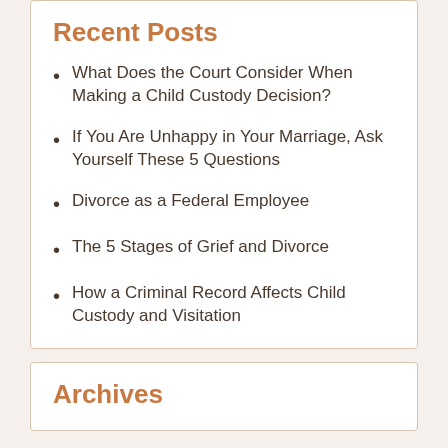Recent Posts
What Does the Court Consider When Making a Child Custody Decision?
If You Are Unhappy in Your Marriage, Ask Yourself These 5 Questions
Divorce as a Federal Employee
The 5 Stages of Grief and Divorce
How a Criminal Record Affects Child Custody and Visitation
Archives